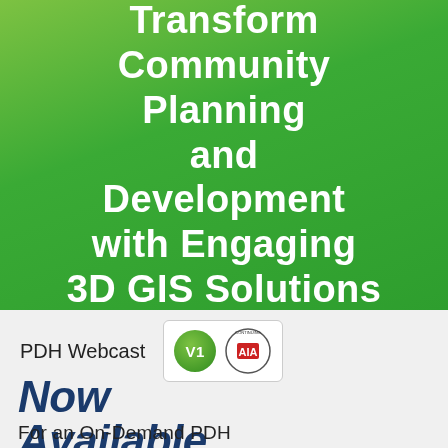Transform Community Planning and Development with Engaging 3D GIS Solutions
PDH Webcast
[Figure (logo): V1 green circle badge and AIA Continuing Education logo badge inside a rounded rectangle box]
Now Available
For an On-Demand PDH